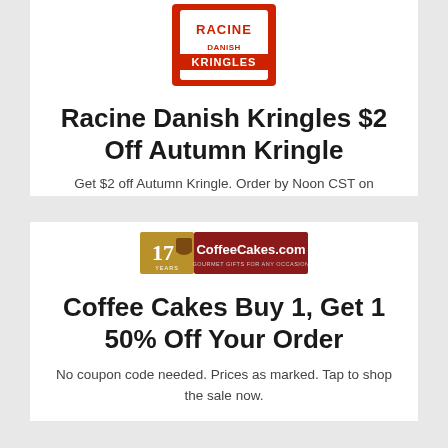[Figure (logo): Racine Danish Kringles logo, red and white]
Racine Danish Kringles $2 Off Autumn Kringle
Get $2 off Autumn Kringle. Order by Noon CST on 11/19/18 to receive in time for Thanksgiving Offers. Valid for Online Orders Only - Coupon Type: $2 Off
Get Code
[Figure (logo): CoffeeCakes.com logo, 17 years, gourmet gifts for any occasion]
Coffee Cakes Buy 1, Get 1 50% Off Your Order
No coupon code needed. Prices as marked. Tap to shop the sale now.